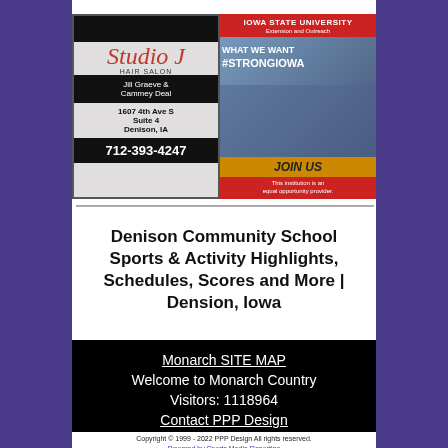[Figure (photo): Studio J Hair Salon advertisement with logo, names Jill Graeve & Cammey Deal, address 1607 4th Ave S Suite 4 Denison IA, phone 712-393-4247]
[Figure (photo): Iowa State University Extension and Outreach advertisement - What We Want #StrongIowa Join Us. This institution is an equal opportunity provider.]
Denison Community School Sports & Activity Highlights, Schedules, Scores and More | Dension, Iowa
Monarch SITE MAP
Welcome to Monarch Country
Visitors:  1118964
Contact PPP Design
Copyright © 1999 - 2022 PPP Design All rights reserved.
Powered by Sports Media Reporting